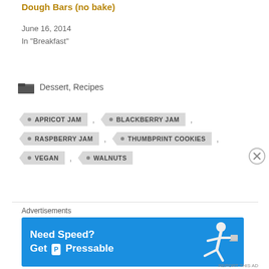Oatmeal Raisin Cookie Dough Bars (no bake)
June 16, 2014
In "Breakfast"
Dessert, Recipes
APRICOT JAM
BLACKBERRY JAM
RASPBERRY JAM
THUMBPRINT COOKIES
VEGAN
WALNUTS
Advertisements
[Figure (infographic): Blue advertisement banner: Need Speed? Get Pressable, with runner figure illustration]